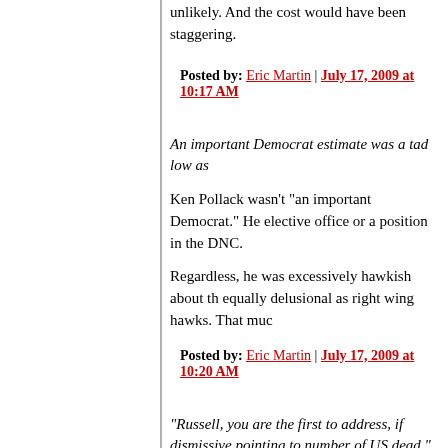unlikely. And the cost would have been staggering.
Posted by: Eric Martin | July 17, 2009 at 10:17 AM
An important Democrat estimate was a tad low as
Ken Pollack wasn't "an important Democrat." He elective office or a position in the DNC.
Regardless, he was excessively hawkish about th equally delusional as right wing hawks. That muc
Posted by: Eric Martin | July 17, 2009 at 10:20 AM
"Russell, you are the first to address, if dismissive pointing to number of US dead."
I didn't intend to be dismissive. I simply wanted to accomplished", in the sense of "end of normal co Iraqi armed forces", was kind of a pointless miles
That's when the hard stuff actually began, which i agreement with.
I don't know if a better run occupation would have